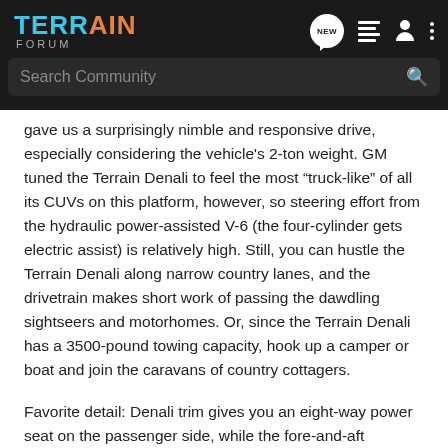TERRAIN FORUM
gave us a surprisingly nimble and responsive drive, especially considering the vehicle's 2-ton weight. GM tuned the Terrain Denali to feel the most “truck-like” of all its CUVs on this platform, however, so steering effort from the hydraulic power-assisted V-6 (the four-cylinder gets electric assist) is relatively high. Still, you can hustle the Terrain Denali along narrow country lanes, and the drivetrain makes short work of passing the dawdling sightseers and motorhomes. Or, since the Terrain Denali has a 3500-pound towing capacity, hook up a camper or boat and join the caravans of country cottagers.
Favorite detail: Denali trim gives you an eight-way power seat on the passenger side, while the fore-and-aft adjustability of the rear seat (on all Terrains, not just Denali) makes it easy to switch between carrying cargo or passengers back there.